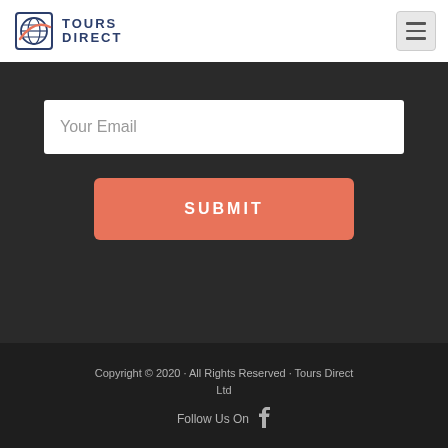TOURS DIRECT
Your Email
SUBMIT
Copyright © 2020 · All Rights Reserved · Tours Direct Ltd
Follow Us On